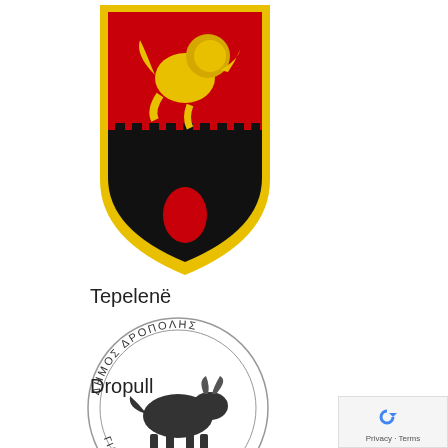[Figure (logo): Coat of arms of Tepelenë, Albania — shield shape with red background, golden/yellow lion rampant on top half, black battlemented castle on bottom half with red oval shape, outlined in yellow/gold]
Tepelenë
[Figure (logo): Circular stamp/seal of Dropull municipality (Greek community in Albania) showing a bull/ox in the center with Greek text around the border reading Δήμος Δρόπολης / Γιάννινα Αλβανία or similar]
Dropull